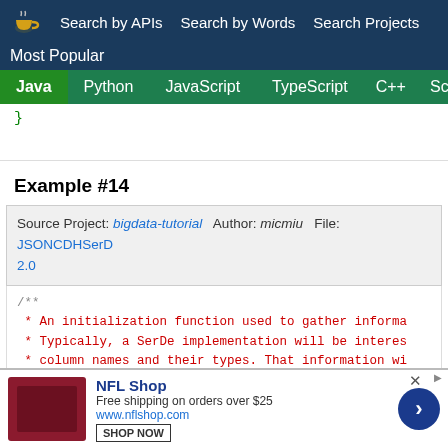Search by APIs  Search by Words  Search Projects  Most Popular
Java  Python  JavaScript  TypeScript  C++  Scala
}
Example #14
Source Project: bigdata-tutorial  Author: micmiu  File: JSONCDHSerD  2.0
/**
 * An initialization function used to gather informa
 * Typically, a SerDe implementation will be interes
 * column names and their types. That information wi
 * actual serialization and deserialization of data.